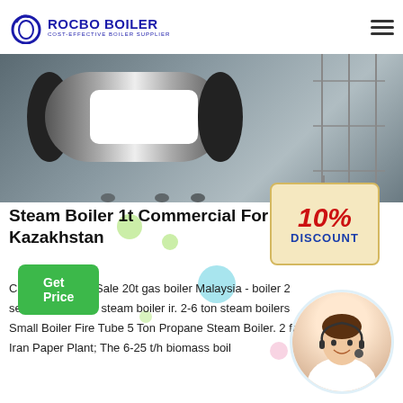ROCBO BOILER — COST-EFFECTIVE BOILER SUPPLIER
[Figure (photo): Industrial steam boiler being installed at a facility, large cylindrical boiler with black end caps and white panel, workers visible, scaffolding in background]
Steam Boiler 1t Commercial For Sale Kazakhstan
Commercial For Sale 20t gas boiler Malaysia - boiler 2 sets 20t gas fired steam boiler ir. 2-6 ton steam boilers Small Boiler Fire Tube 5 Ton Propane Steam Boiler. 2 for Iran Paper Plant; The 6-25 t/h biomass boil
[Figure (infographic): 10% DISCOUNT badge tag with colorful decorative bubbles overlay]
[Figure (photo): Customer service representative woman with headset smiling, circular avatar]
Get Price